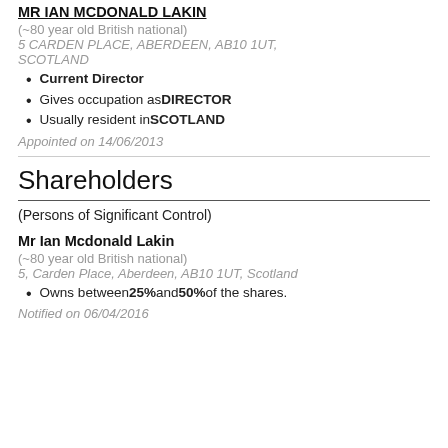MR IAN MCDONALD LAKIN
(~80 year old British national)
5 CARDEN PLACE, ABERDEEN, AB10 1UT, SCOTLAND
Current Director
Gives occupation as DIRECTOR
Usually resident in SCOTLAND
Appointed on 14/06/2013
Shareholders
(Persons of Significant Control)
Mr Ian Mcdonald Lakin
(~80 year old British national)
5, Carden Place, Aberdeen, AB10 1UT, Scotland
Owns between 25% and 50% of the shares.
Notified on 06/04/2016